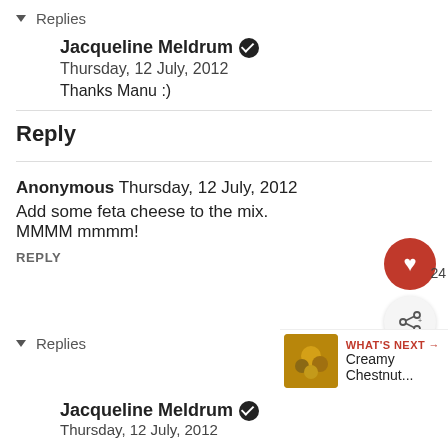▾ Replies
Jacqueline Meldrum ✓
Thursday, 12 July, 2012
Thanks Manu :)
Reply
Anonymous Thursday, 12 July, 2012
Add some feta cheese to the mix. MMMM mmmm!
REPLY
▾ Replies
Jacqueline Meldrum ✓
Thursday, 12 July, 2012